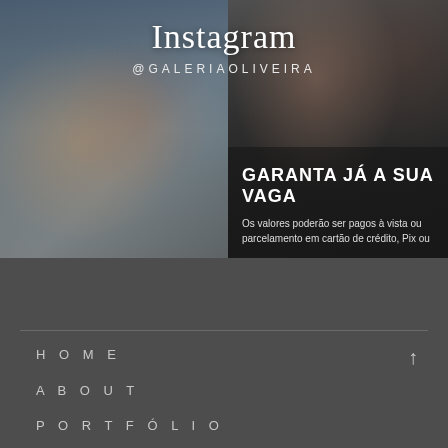Instagram
@GALERIAOLIVEIRA
[Figure (photo): Family photo with Tower Bridge in the background — man, woman, and baby in London]
[Figure (photo): Close-up portrait of woman with glasses, man in bow tie in background]
GARANTA JÁ A SUA VAGA
Os valores poderão ser pagos à vista ou parcelamento em cartão de crédito, Pix ou
HOME
ABOUT
PORTFÓLIO